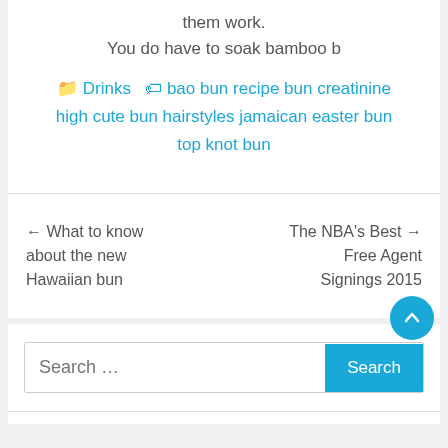them work. You do have to soak bamboo b
Drinks  bao bun recipe bun creatinine high cute bun hairstyles jamaican easter bun top knot bun
← What to know about the new Hawaiian bun
The NBA's Best Free Agent Signings 2015 →
Search ...